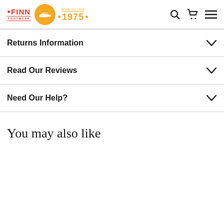FINN Footwear • family run since 1975 •
Returns Information
Read Our Reviews
Need Our Help?
You may also like